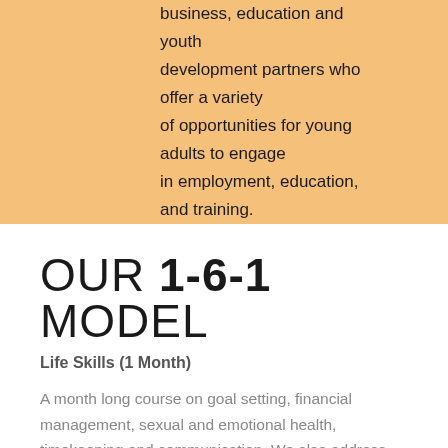business, education and youth development partners who offer a variety of opportunities for young adults to engage in employment, education, and training.
OUR 1-6-1 MODEL
Life Skills (1 Month)
A month long course on goal setting, financial management, sexual and emotional health, timekeeping and communication. We also address themes of Resilience, Teamwork, and Leadership. A week long...